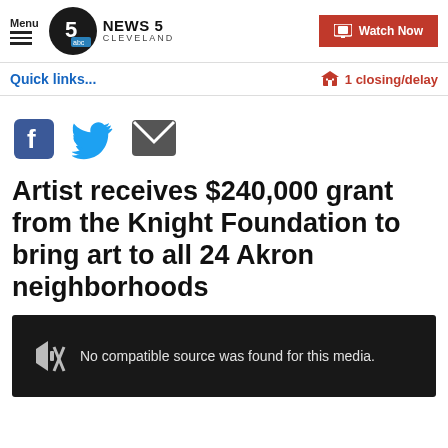Menu | NEWS 5 CLEVELAND | Watch Now
Quick links...
1 closing/delay
[Figure (other): Social sharing icons: Facebook, Twitter, Email]
Artist receives $240,000 grant from the Knight Foundation to bring art to all 24 Akron neighborhoods
[Figure (screenshot): Video player showing error: No compatible source was found for this media.]